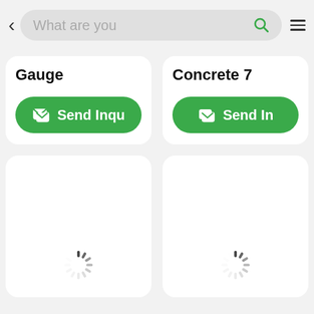[Figure (screenshot): Mobile app UI screenshot showing a search bar at the top with back arrow and hamburger menu, two product cards below with titles 'Gauge' and 'Concrete 7' and 'Send Inquiry' buttons in green, and two loading spinner cards at the bottom.]